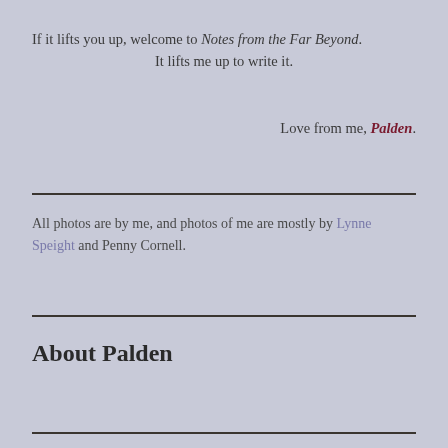If it lifts you up, welcome to Notes from the Far Beyond. It lifts me up to write it.
Love from me, Palden.
All photos are by me, and photos of me are mostly by Lynne Speight and Penny Cornell.
About Palden